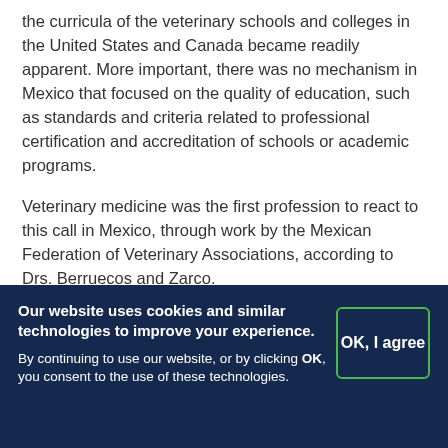the curricula of the veterinary schools and colleges in the United States and Canada became readily apparent. More important, there was no mechanism in Mexico that focused on the quality of education, such as standards and criteria related to professional certification and accreditation of schools or academic programs.
Veterinary medicine was the first profession to react to this call in Mexico, through work by the Mexican Federation of Veterinary Associations, according to Drs. Berruecos and Zarco.
Our website uses cookies and similar technologies to improve your experience. By continuing to use our website, or by clicking OK, you consent to the use of these technologies.